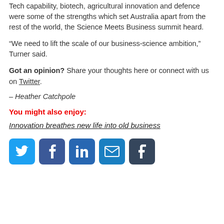Tech capability, biotech, agricultural innovation and defence were some of the strengths which set Australia apart from the rest of the world, the Science Meets Business summit heard.
“We need to lift the scale of our business-science ambition,” Turner said.
Got an opinion? Share your thoughts here or connect with us on Twitter.
– Heather Catchpole
You might also enjoy:
Innovation breathes new life into old business
[Figure (infographic): Social media sharing icons: Twitter (blue bird), Facebook (blue f), LinkedIn (blue in), Email (blue envelope), Tumblr (dark blue t)]